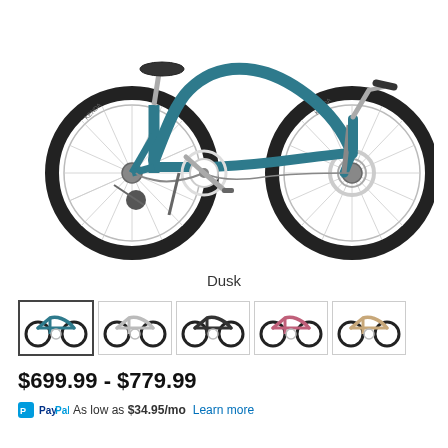[Figure (photo): Electra Townie step-through comfort bicycle in teal/dusk color, side view showing full frame, wheels, gearing, and disc brake]
Dusk
[Figure (photo): Row of 5 color variant thumbnail images of the same bicycle model]
$699.99 - $779.99
PayPal As low as $34.95/mo  Learn more